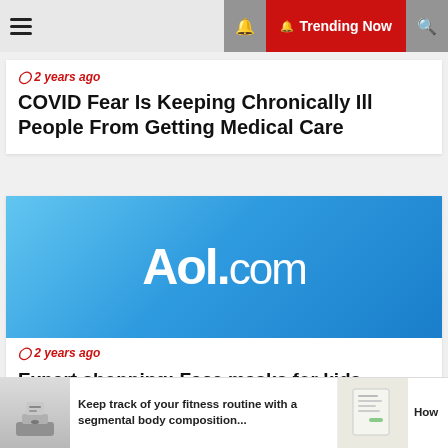☰  🔔 Trending Now 🔍
⏱ 2 years ago
COVID Fear Is Keeping Chronically Ill People From Getting Medical Care
[Figure (logo): AOL.com logo on blue gradient background]
⏱ 2 years ago
Expert shopping: Face masks for kids
Keep track of your fitness routine with a segmental body composition...
How